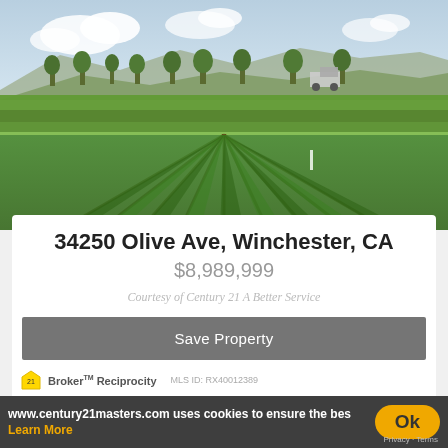[Figure (photo): Aerial view of a farm field in Winchester, CA with rows of green leafy crops, trees, hills and cloudy sky in the background]
34250 Olive Ave, Winchester, CA
$8,989,999
Courtesy of Century 21 A Better Service
Save Property
www.century21masters.com uses cookies to ensure the bes
Learn More
Ok
Privacy · Terms